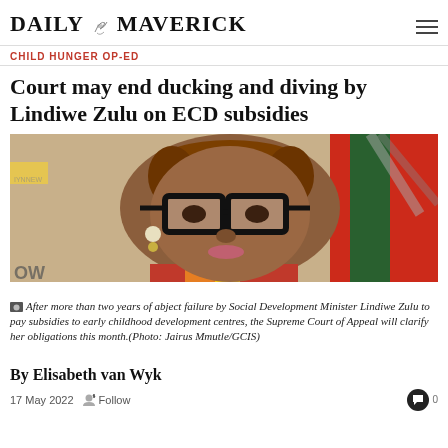DAILY MAVERICK
CHILD HUNGER OP-ED
Court may end ducking and diving by Lindiwe Zulu on ECD subsidies
[Figure (photo): Portrait photo of Lindiwe Zulu, a woman wearing large black-framed glasses, with short reddish hair and colourful clothing, with a South African flag visible in the background.]
After more than two years of abject failure by Social Development Minister Lindiwe Zulu to pay subsidies to early childhood development centres, the Supreme Court of Appeal will clarify her obligations this month.(Photo: Jairus Mmutle/GCIS)
By Elisabeth van Wyk
17 May 2022   Follow   0